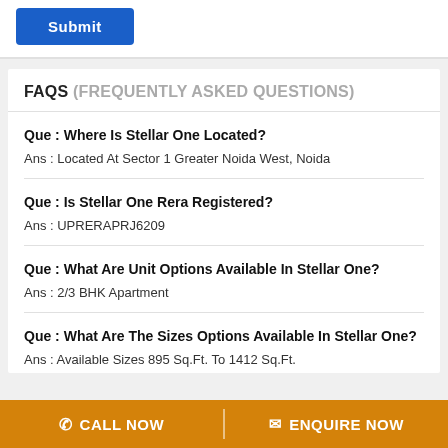[Figure (other): Blue Submit button at top of page]
FAQS (FREQUENTLY ASKED QUESTIONS)
Que : Where Is Stellar One Located?
Ans : Located At Sector 1 Greater Noida West, Noida
Que : Is Stellar One Rera Registered?
Ans : UPRERAPRJ6209
Que : What Are Unit Options Available In Stellar One?
Ans : 2/3 BHK Apartment
Que : What Are The Sizes Options Available In Stellar One?
Ans : Available Sizes 895 Sq.Ft. To 1412 Sq.Ft.
CALL NOW   ENQUIRE NOW